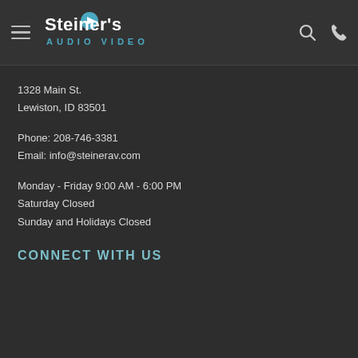[Figure (logo): Steiner's Audio Video logo with play button icon, white text on dark background]
1328 Main St.
Lewiston, ID 83501
Phone: 208-746-3381
Email: info@steinerav.com
Monday - Friday 9:00 AM - 6:00 PM
Saturday Closed
Sunday and Holidays Closed
CONNECT WITH US